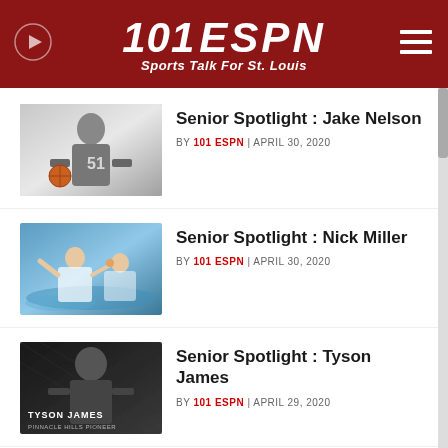101 ESPN Sports Talk For St. Louis
Senior Spotlight : Jake Nelson
BY 101 ESPN | APRIL 30, 2020
[Figure (photo): Basketball player wearing jersey number 51 during a game]
Senior Spotlight : Nick Miller
BY 101 ESPN | APRIL 30, 2020
[Figure (photo): Water polo players in a pool during a game]
Senior Spotlight : Tyson James
BY 101 ESPN | APRIL 29, 2020
[Figure (photo): MMA fighter Tyson James in dark background with name text overlay]
Senior Spotlight : Reece Rothfuss
BY 101 ESPN | APRIL 29, 2020
[Figure (photo): Baseball player in blue uniform outdoors]